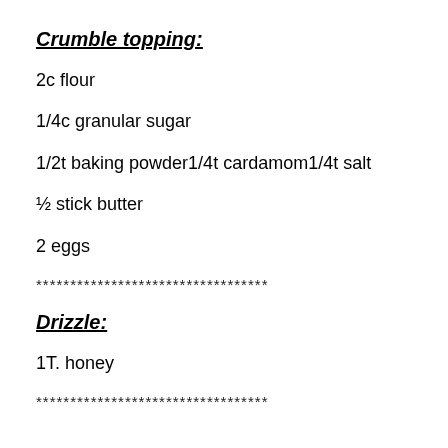Crumble topping:
2c flour
1/4c granular sugar
1/2t baking powder1/4t cardamom1/4t salt
½ stick butter
2 eggs
**********************************
Drizzle:
1T. honey
**********************************